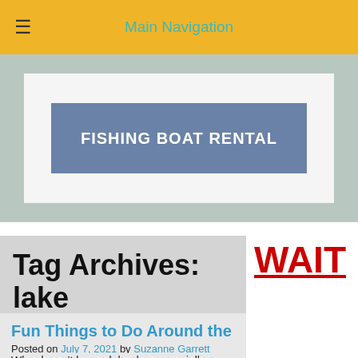≡   Main Navigation
[Figure (screenshot): Banner area showing a fishing boat rental sign on a blue-grey background with white inner border]
Tag Archives: lake days
Fun Things to Do Around the Triangle this Summer: Lake Edition
Posted on July 7, 2021 by Suzanne Garrett
Who doesn't love a lake day, especially a
WAIT